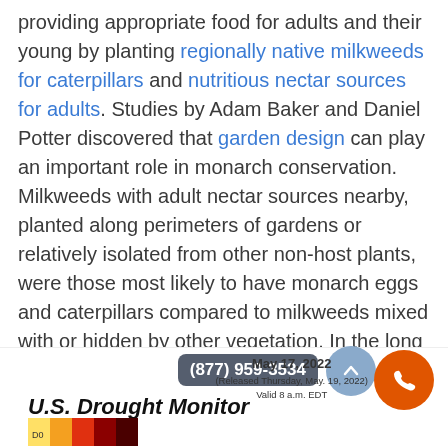providing appropriate food for adults and their young by planting regionally native milkweeds for caterpillars and nutritious nectar sources for adults. Studies by Adam Baker and Daniel Potter discovered that garden design can play an important role in monarch conservation. Milkweeds with adult nectar sources nearby, planted along perimeters of gardens or relatively isolated from other non-host plants, were those most likely to have monarch eggs and caterpillars compared to milkweeds mixed with or hidden by other vegetation. In the long run, not only for monarchs but for all living things, we better find ways to cool this planet down.
[Figure (other): U.S. Drought Monitor map thumbnail partially visible at bottom of page with date May 17, 2022 and a phone number bubble (877) 959-3534 overlaid, along with blue and orange circular UI elements]